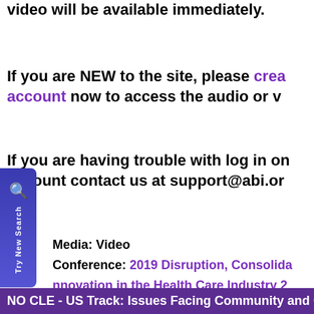video will be available immediately.
If you are NEW to the site, please create an account now to access the audio or v…
If you are having trouble with log in or account contact us at support@abi.or…
Media: Video
Conference: 2019 Disruption, Consolidation & Innovation in the Health Care Industry 2…
Speakers:
Tags: Health Care, Corporate Governance…
NO CLE - US Track: Issues Facing Community and C…